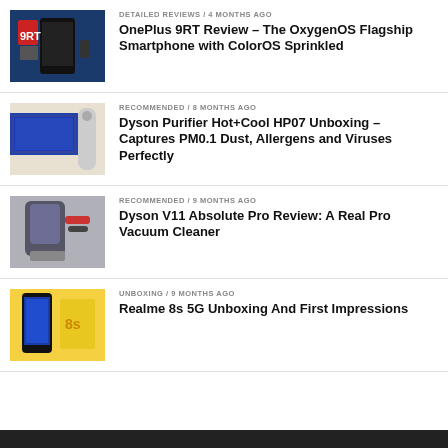[Figure (photo): OnePlus 9RT smartphone product photo]
DETAILED REVIEWS / 4 months ago
OnePlus 9RT Review – The OxygenOS Flagship Smartphone with ColorOS Sprinkled
[Figure (photo): Dyson Purifier HP07 with TV in background]
RECOMMENDED / 8 months ago
Dyson Purifier Hot+Cool HP07 Unboxing – Captures PM0.1 Dust, Allergens and Viruses Perfectly
[Figure (photo): Dyson V11 Absolute Pro vacuum cleaner]
RECOMMENDED / 9 months ago
Dyson V11 Absolute Pro Review: A Real Pro Vacuum Cleaner
[Figure (photo): Realme 8s 5G smartphone unboxing]
UNBOXING / 9 months ago
Realme 8s 5G Unboxing And First Impressions